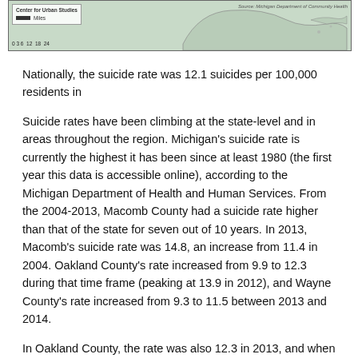[Figure (map): Partial map strip showing a geographic map of Michigan region with a legend, miles scale bar (0 3 6 12 18 24), and source label: Source: Michigan Department of Community Health]
Nationally, the suicide rate was 12.1 suicides per 100,000 residents in
Suicide rates have been climbing at the state-level and in areas throughout the region. Michigan’s suicide rate is currently the highest it has been since at least 1980 (the first year this data is accessible online), according to the Michigan Department of Health and Human Services. From the 2004-2013, Macomb County had a suicide rate higher than that of the state for seven out of 10 years. In 2013, Macomb’s suicide rate was 14.8, an increase from 11.4 in 2004. Oakland County’s rate increased from 9.9 to 12.3 during that time frame (peaking at 13.9 in 2012), and Wayne County’s rate increased from 9.3 to 11.5 between 2013 and 2014.
In Oakland County, the rate was also 12.3 in 2013, and when